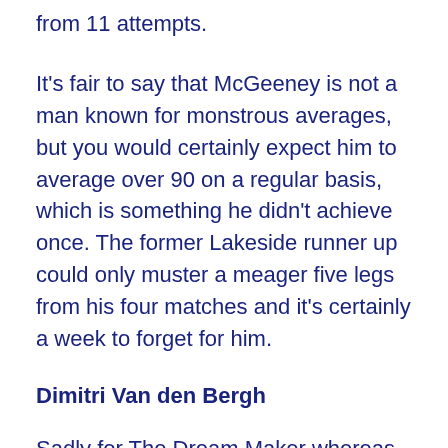from 11 attempts.
It's fair to say that McGeeney is not a man known for monstrous averages, but you would certainly expect him to average over 90 on a regular basis, which is something he didn't achieve once. The former Lakeside runner up could only muster a meager five legs from his four matches and it's certainly a week to forget for him.
Dimitri Van den Bergh
Sadly for The Dream Maker whereas, Jonny